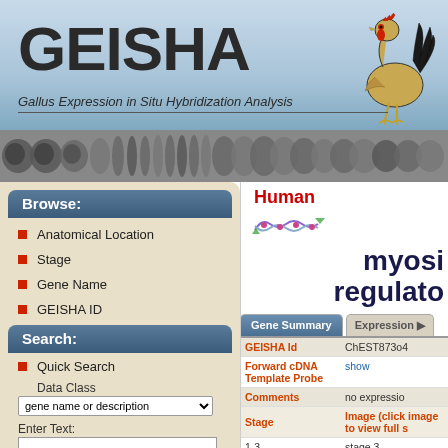[Figure (screenshot): GEISHA website screenshot showing the Gallus Expression in Situ Hybridization Analysis database with logo, navigation sidebar, and gene summary table for myosin regulator gene]
GEISHA
Gallus Expression in Situ Hybridization Analysis
Browse:
Anatomical Location
Stage
Gene Name
GEISHA ID
Multiple Parameters
Search:
Quick Search
Data Class
gene name or description
Enter Text:
Human
myosin regulator
| Field | Value |
| --- | --- |
| GEISHA Id | ChEST873o4 |
| Forward cDNA Template Probe | show |
| Comments | no expression |
| Stage   Image (click image to view full s |  |
| 1-3 | stage 3 |